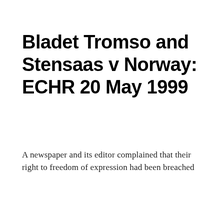Bladet Tromso and Stensaas v Norway: ECHR 20 May 1999
A newspaper and its editor complained that their right to freedom of expression had been breached